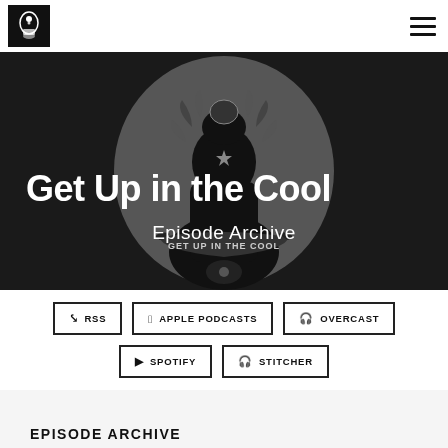Get Up in the Cool - navigation bar with logo and hamburger menu
[Figure (illustration): Hero banner with black background showing a decorative illustration of a figure with ornate mandala/floral design and a banner reading 'GET UP IN THE COOL'. Large white bold title text 'Get Up in the Cool' overlaid on left, and subtitle 'Episode Archive' centered below.]
Get Up in the Cool
Episode Archive
RSS
APPLE PODCASTS
OVERCAST
SPOTIFY
STITCHER
EPISODE ARCHIVE